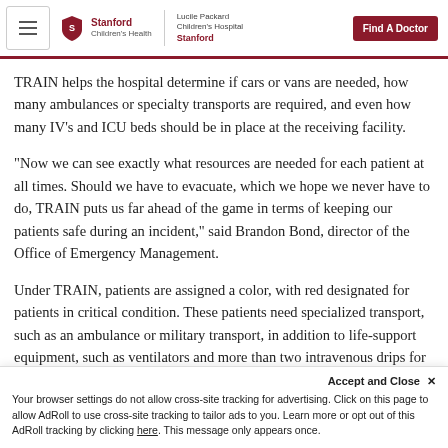Stanford Children's Health | Lucile Packard Children's Hospital Stanford | Find A Doctor
TRAIN helps the hospital determine if cars or vans are needed, how many ambulances or specialty transports are required, and even how many IV's and ICU beds should be in place at the receiving facility.
“Now we can see exactly what resources are needed for each patient at all times. Should we have to evacuate, which we hope we never have to do, TRAIN puts us far ahead of the game in terms of keeping our patients safe during an incident,” said Brandon Bond, director of the Office of Emergency Management.
Under TRAIN, patients are assigned a color, with red designated for patients in critical condition. These patients need specialized transport, such as an ambulance or military transport, in addition to life-support equipment, such as ventilators and more than two intravenous drips for medication. For example, a premature infant with high
Accept and Close ×
Your browser settings do not allow cross-site tracking for advertising. Click on this page to allow AdRoll to use cross-site tracking to tailor ads to you. Learn more or opt out of this AdRoll tracking by clicking here. This message only appears once.